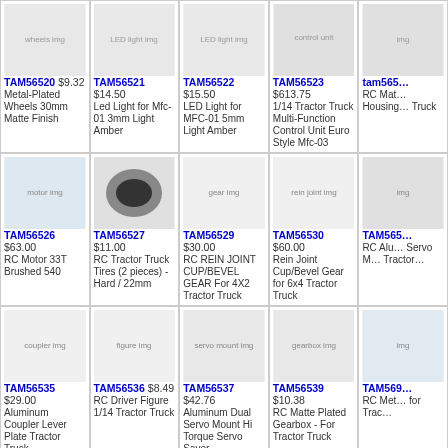TAM56520 $9.32 Metal-Plated Wheels 30mm Matte Finish
TAM56521 $14.50 Led Light for Mfc-01 3mm Light Amber
TAM56522 $15.50 LED Light for MFC-01 5mm Light Amber
TAM56523 $613.75 1/14 Tractor Truck Multi-Function Control Unit Euro Style Mfc-03
tam565... RC Mat... Housing... Truck
TAM56526 $63.00 RC Motor 33T Brushed 540
TAM56527 $11.00 RC Tractor Truck Tires (2 pieces) - Hard / 22mm
TAM56529 $30.00 RC REIN JOINT CUP/BEVEL GEAR For 4X2 Tractor Truck
TAM56530 $60.00 Rein Joint Cup/Bevel Gear for 6x4 Tractor Truck
TAM565... RC Alu... Servo M... Tractor...
TAM56535 $29.00 Aluminum Coupler Lever Plate Tractor Truck
TAM56536 $8.49 RC Driver Figure 1/14 Tractor Truck
TAM56537 $42.76 Aluminum Dual Servo Mount Hi Torque Servo Saver
TAM56539 $10.38 RC Matte Plated Gearbox - For Tractor Truck
TAM569... RC Met... for Trac...
TAM56542 $7.50 Rear Wheels 22mm White (2)
TAM56543 $5.57 Hex Hub Wheels 30mm White (2)
TAM56544 $5.26 Ball Bearing Wheels 30mm White (2)
TAM56545 $454.10 1/14 Electric Actuator Set :Tipper Truck
TAM565... 1/14 Ro... White E...
NO PHOTO
NO PHOTO
(product image)
(product image)
(product image)